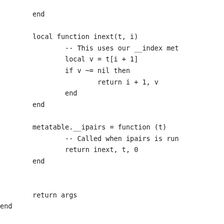end

        local function inext(t, i)
                -- This uses our __index met
                local v = t[i + 1]
                if v ~= nil then
                        return i + 1, v
                end
        end

        metatable.__ipairs = function (t)
                -- Called when ipairs is run
                return inext, t, 0
        end


        return args
end